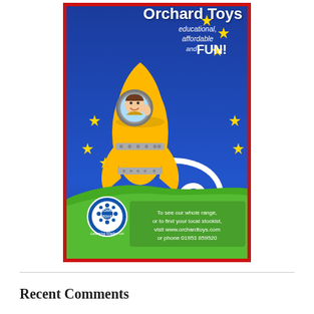[Figure (illustration): Orchard Toys advertisement showing a cartoon yellow rocket ship with a boy waving inside the window, flying through space with stars. Bottom has green hills with Orchard Toys logo, contact info: www.orchardtoys.com or phone 01953 859520. Text reads: 'Orchard Toys educational, affordable and FUN! To see our whole range, or to find your local stockist, visit www.orchardtoys.com or phone 01953 859520']
Recent Comments